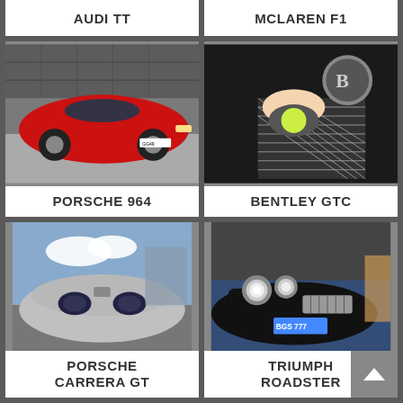AUDI TT
MCLAREN F1
[Figure (photo): Red Porsche 964 sports car parked indoors]
PORSCHE 964
[Figure (photo): Hands using a polishing tool on a Bentley grille with 'B' emblem]
BENTLEY GTC
[Figure (photo): Silver Porsche Carrera GT front/side close-up outdoors]
PORSCHE CARRERA GT
[Figure (photo): Black classic Triumph Roadster with license plate BGS 777]
TRIUMPH ROADSTER